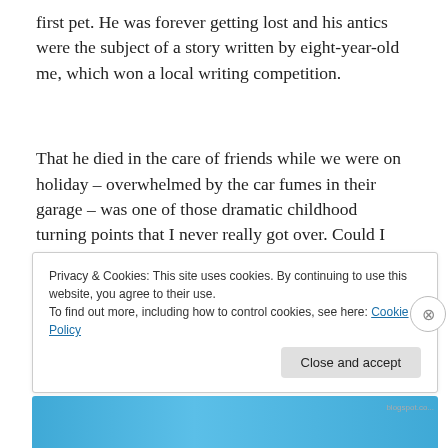first pet. He was forever getting lost and his antics were the subject of a story written by eight-year-old me, which won a local writing competition.
That he died in the care of friends while we were on holiday – overwhelmed by the car fumes in their garage – was one of those dramatic childhood turning points that I never really got over. Could I move on?
Privacy & Cookies: This site uses cookies. By continuing to use this website, you agree to their use.
To find out more, including how to control cookies, see here: Cookie Policy
Close and accept